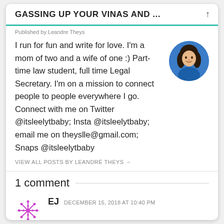GASSING UP YOUR VINAS AND ...
Published by Leandre Theys
I run for fun and write for love. I'm a mom of two and a wife of one :) Part-time law student, full time Legal Secretary. I'm on a mission to connect people to people everywhere I go. Connect with me on Twitter @itsleelytbaby; Insta @itsleelytbaby; email me on theyslle@gmail.com; Snaps @itsleelytbaby
VIEW ALL POSTS BY LEANDRÉ THEYS →
1 comment
EJ  DECEMBER 15, 2018 AT 10:40 PM
Clearly very motivational...and written